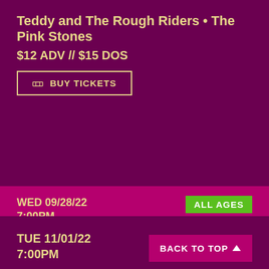Teddy and The Rough Riders • The Pink Stones
$12 ADV // $15 DOS
🎟 BUY TICKETS
WED 09/28/22
7:00PM
ALL AGES
music
Combust • World I Hate • Mind Harvester • Choke Chain
$12
TUE 11/01/22
7:00PM
BACK TO TOP ↑